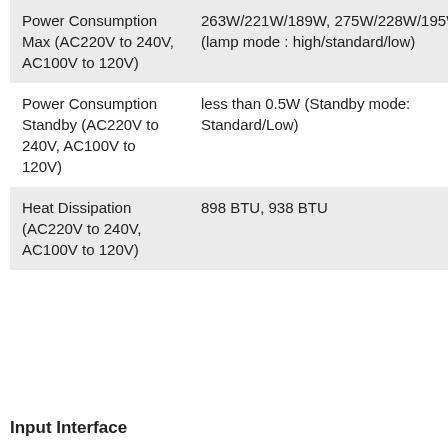| Power Consumption Max (AC220V to 240V, AC100V to 120V) | 263W/221W/189W, 275W/228W/195W (lamp mode : high/standard/low) |
| Power Consumption Standby (AC220V to 240V, AC100V to 120V) | less than 0.5W (Standby mode: Standard/Low) |
| Heat Dissipation (AC220V to 240V, AC100V to 120V) | 898 BTU, 938 BTU |
Input Interface